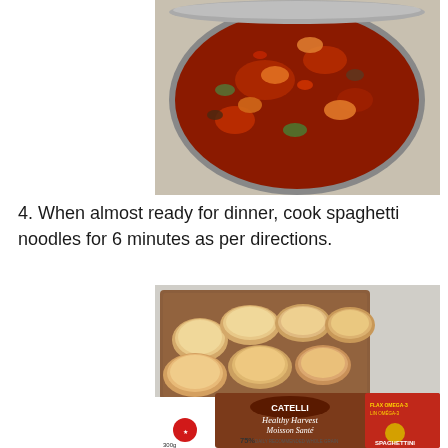[Figure (photo): A large pot viewed from above containing a rich red tomato sauce with visible chunks of vegetables including carrots and peppers, simmering on a stove.]
4. When almost ready for dinner, cook spaghetti noodles for 6 minutes as per directions.
[Figure (photo): A baking tray with slices of bread arranged on it, and in the foreground a Catelli Healthy Harvest / Moisson Santé spaghettini pasta box showing 75% whole grain, 300g, flax omega-3.]